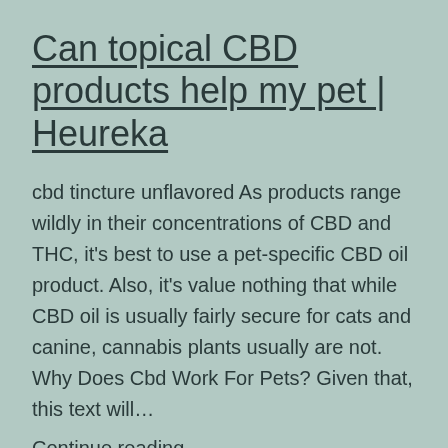Can topical CBD products help my pet | Heureka
cbd tincture unflavored As products range wildly in their concentrations of CBD and THC, it's best to use a pet-specific CBD oil product. Also, it's value nothing that while CBD oil is usually fairly secure for cats and canine, cannabis plants usually are not. Why Does Cbd Work For Pets? Given that, this text will…
Continue reading